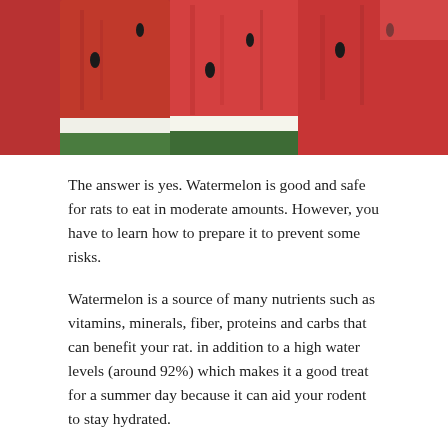[Figure (photo): Close-up photo of sliced watermelon pieces showing red flesh and green rind]
The answer is yes. Watermelon is good and safe for rats to eat in moderate amounts. However, you have to learn how to prepare it to prevent some risks.
Watermelon is a source of many nutrients such as vitamins, minerals, fiber, proteins and carbs that can benefit your rat. in addition to a high water levels (around 92%) which makes it a good treat for a summer day because it can aid your rodent to stay hydrated.
Down below, we've put together few of the health benefits of giving watermelon to rats.
Vitamins
Rats use vitamins to maintain their body functions. Below